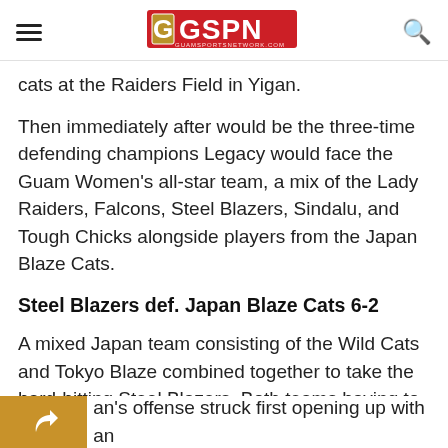GSPN - Guam Sports Network
cats at the Raiders Field in Yigan.
Then immediately after would be the three-time defending champions Legacy would face the Guam Women's all-star team, a mix of the Lady Raiders, Falcons, Steel Blazers, Sindalu, and Tough Chicks alongside players from the Japan Blaze Cats.
Steel Blazers def. Japan Blaze Cats 6-2
A mixed Japan team consisting of the Wild Cats and Tokyo Blaze combined together to take the hard-hitting Steel Blazers. Both teams having to convert back to the previous eight-man style of play definitely utilized the width of the field.
an's offense struck first opening up with an